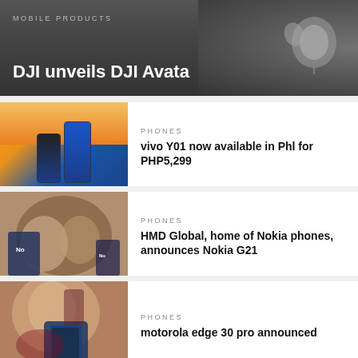MOBILE PRODUCTS
DJI unveils DJI Avata
[Figure (photo): Hero image of DJI Avata product on dark background]
PHONES
vivo Y01 now available in Phl for PHP5,299
[Figure (photo): Two blue/dark smartphones against a sunset background]
PHONES
HMD Global, home of Nokia phones, announces Nokia G21
[Figure (photo): People smiling outdoors holding Nokia phones]
PHONES
motorola edge 30 pro announced
[Figure (photo): Woman looking at a smartphone]